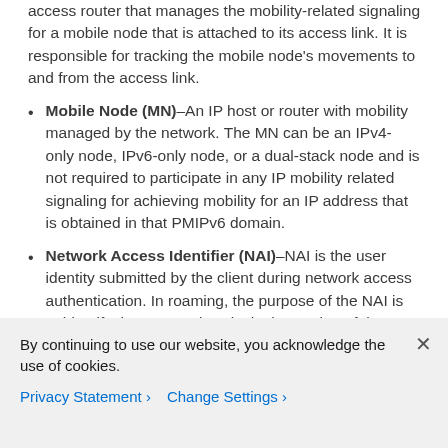access router that manages the mobility-related signaling for a mobile node that is attached to its access link. It is responsible for tracking the mobile node's movements to and from the access link.
Mobile Node (MN)–An IP host or router with mobility managed by the network. The MN can be an IPv4-only node, IPv6-only node, or a dual-stack node and is not required to participate in any IP mobility related signaling for achieving mobility for an IP address that is obtained in that PMIPv6 domain.
Network Access Identifier (NAI)–NAI is the user identity submitted by the client during network access authentication. In roaming, the purpose of the NAI is to identify the user and assist in the routing of the authentication request. The standard syntax is "user@realm", or as defined in rfc 4282.
Mobile Node Identifier–The identity of a mobile node in the PMIPv6 domain. This is the stable identifier and is
By continuing to use our website, you acknowledge the use of cookies.
Privacy Statement › Change Settings ›